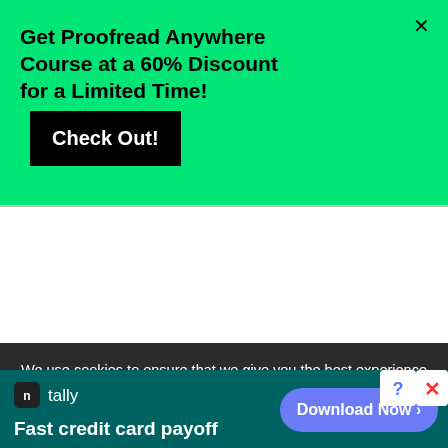Get Proofread Anywhere Course at a 60% Discount for a Limited Time!
[Figure (screenshot): White content area placeholder]
We use cookies to ensure that we give you the best experience on our website. If you continue to use this site we will assume
[Figure (infographic): Tally app advertisement bar: Fast credit card payoff with Download Now button]